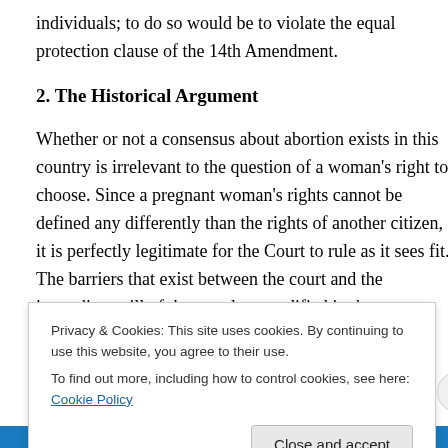individuals; to do so would be to violate the equal protection clause of the 14th Amendment.
2. The Historical Argument
Whether or not a consensus about abortion exists in this country is irrelevant to the question of a woman's right to choose. Since a pregnant woman's rights cannot be defined any differently than the rights of another citizen, it is perfectly legitimate for the Court to rule as it sees fit. The barriers that exist between the court and the immediate will of the populace, codified in the established
Privacy & Cookies: This site uses cookies. By continuing to use this website, you agree to their use.
To find out more, including how to control cookies, see here: Cookie Policy
Close and accept